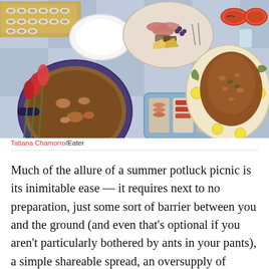[Figure (illustration): Top-down illustration of a summer picnic spread on a blue checkered blanket featuring various dishes including a roasted bird on a platter, charcuterie on a blue tray, cheese and meat on a plate, oysters on a wooden board, a cast iron pan with food, glasses of water, tulips, and sunglasses.]
Tatiana Chamorro/Eater
Much of the allure of a summer potluck picnic is its inimitable ease — it requires next to no preparation, just some sort of barrier between you and the ground (and even that's optional if you aren't particularly bothered by ants in your pants), a simple shareable spread, an oversupply of canned rosé (also optional... but is it though?). No meal could be less physically fussy, or more psychologically rewarding.